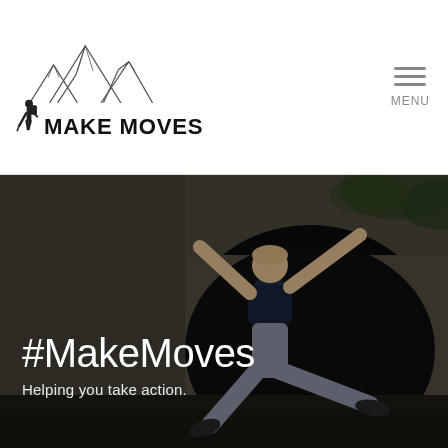[Figure (logo): Make Moves logo: hiker silhouette with hiking poles and mountains sketch above, with bold text MAKE MOVES]
[Figure (other): Hamburger menu icon (three horizontal lines) with MENU text below]
[Figure (photo): Man jumping energetically in front of a stone arch bridge/tunnel, arms and legs spread wide, wearing navy shirt and grey jeans, dark outdoor background]
#MakeMoves
Helping you take action.